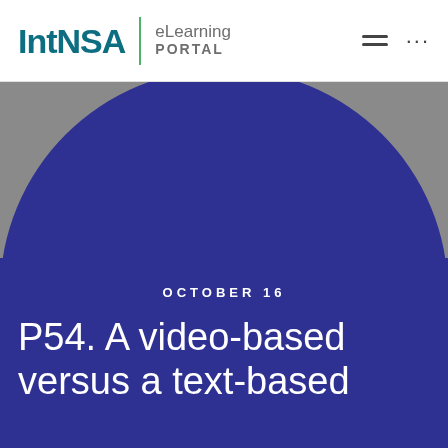IntNSA | eLearning PORTAL
[Figure (illustration): Gray background with large dark blue semicircle rising from bottom center]
OCTOBER 16
P54. A video-based versus a text-based